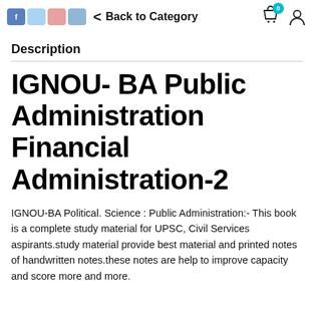Back to Category
Description
IGNOU- BA Public Administration Financial Administration-2
IGNOU-BA Political. Science : Public Administration:- This book is a complete study material for UPSC, Civil Services aspirants.study material provide best material and printed notes of handwritten notes.these notes are help to improve capacity and score more and more.